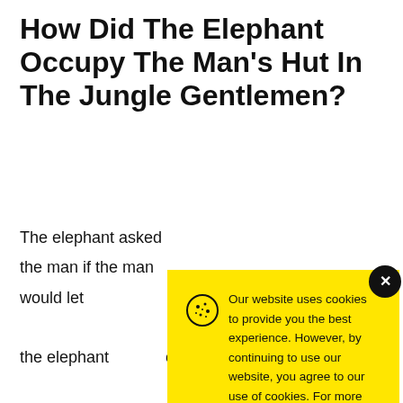How Did The Elephant Occupy The Man's Hut In The Jungle Gentlemen?
The elephant asked the man if the man would let the elephant … protect the tr… putting the tr… slowly pushe…
[Figure (screenshot): Yellow cookie consent modal popup with cookie icon, close button (dark circle with x), message about website cookies and Cookie Policy link, and an Accept button]
×